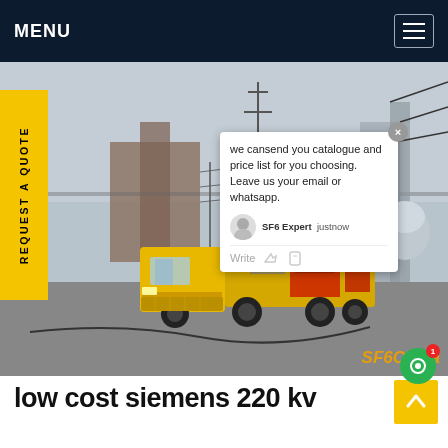MENU
[Figure (photo): A yellow utility truck with equipment mounted on the back, parked at an electrical substation with high-voltage power lines and infrastructure visible in the background. SF6China watermark visible in lower right.]
REQUEST A QUOTE
we cansend you catalogue and price list for you choosing. Leave us your email or whatsapp.
SF6 Expert   justnow
Write
low cost siemens 220 kv